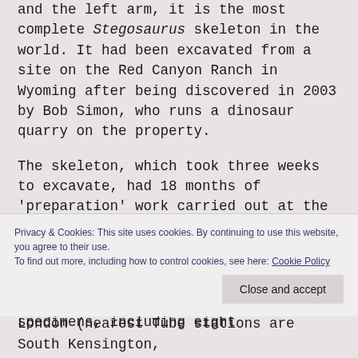and the left arm, it is the most complete Stegosaurus skeleton in the world. It had been excavated from a site on the Red Canyon Ranch in Wyoming after being discovered in 2003 by Bob Simon, who runs a dinosaur quarry on the property.
The skeleton, which took three weeks to excavate, had 18 months of 'preparation' work carried out at the Swiss Saurier Museum before arriving at the NHM in December, 2013.
The new acquisition now forms part of the museum's collection of 80 million specimens, including eight
Privacy & Cookies: This site uses cookies. By continuing to use this website, you agree to their use.
To find out more, including how to control cookies, see here: Cookie Policy
London (nearest Tube stations are South Kensington,